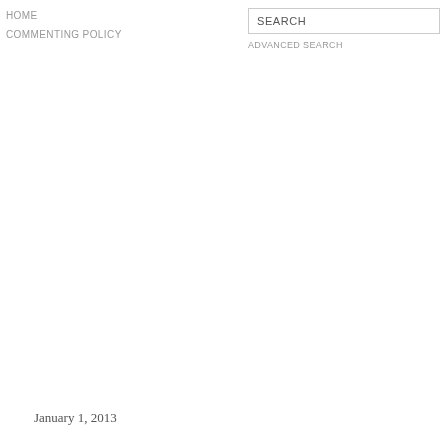HOME
COMMENTING POLICY
SEARCH
ADVANCED SEARCH
January 1, 2013